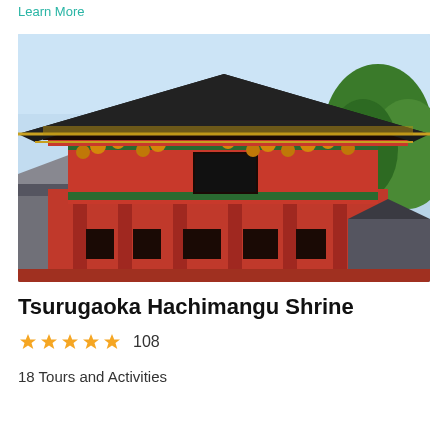Learn More
[Figure (photo): Photograph of Tsurugaoka Hachimangu Shrine showing a large traditional Japanese red wooden shrine building with ornate gold decorations on the roof, green tree in background, and clear blue sky.]
Tsurugaoka Hachimangu Shrine
★★★★★ 108
18 Tours and Activities